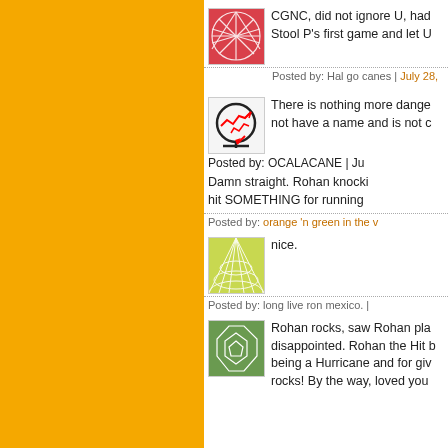[Figure (illustration): Pink/red pattern avatar]
CGNC, did not ignore U, had Stool P's first game and let U
Posted by: Hal go canes | July 28,
[Figure (illustration): Chart/graph avatar with circle and red arrow]
There is nothing more dange not have a name and is not c
Posted by: OCALACANE | Ju
Damn straight. Rohan knocki hit SOMETHING for running
Posted by: orange 'n green in the v
[Figure (illustration): Green geometric pattern avatar]
nice.
Posted by: long live ron mexico. |
[Figure (illustration): Dark green polygon/leaf pattern avatar]
Rohan rocks, saw Rohan pla disappointed. Rohan the Hit b being a Hurricane and for giv rocks! By the way, loved you